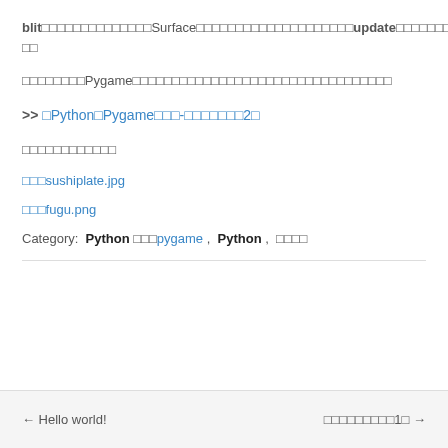blit□□□□□□□□□□□□□□Surface□□□□□□□□□□□□□□□□□□□□update□□□□□□□□□□□□□□
□□□□□□□□Pygame□□□□□□□□□□□□□□□□□□□□□□□□□□□□□□□□□
>> □Python□Pygame□□□-□□□□□□□2□
□□□□□□□□□□□□
□□□sushiplate.jpg
□□□fugu.png
Category:  Python □□□pygame ,  Python ,  □□□□
← Hello world!
□□□□□□□□□1□ →